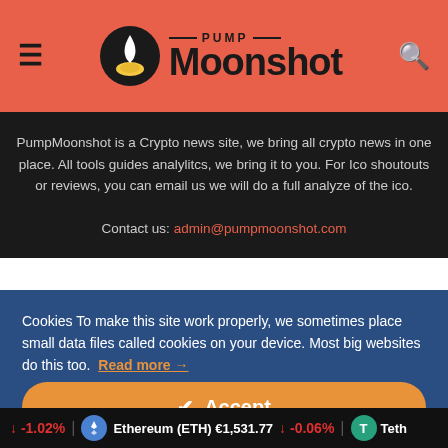PUMP Moonshot
PumpMoonshot is a Crypto news site, we bring all crypto news in one place. All tools guides analylitcs, we bring it to you. For Ico shoutouts or reviews, you can email us we will do a full analyze of the ico.

Contact us: admin@pumpmoonshot.com
Cookies To make this site work properly, we sometimes place small data files called cookies on your device. Most big websites do this too. Read more →
✔ Accept
Cookies Settings ⚙
↓ -1.02% | Ethereum (ETH) €1,531.77 ↓ -0.06% | Teth